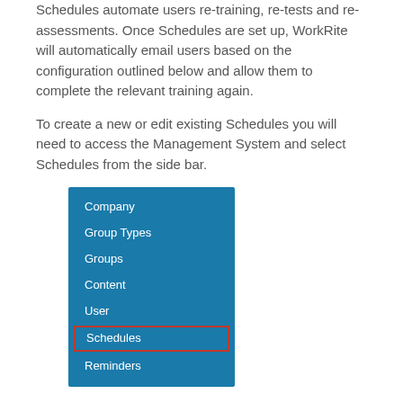Schedules automate users re-training, re-tests and re-assessments.  Once Schedules are set up, WorkRite will automatically email users based on the configuration outlined below and allow them to complete the relevant training again.
To create a new or edit existing Schedules you will need to access the Management System and select Schedules from the side bar.
[Figure (screenshot): A blue sidebar navigation menu showing items: Company, Group Types, Groups, Content, User, Schedules (highlighted with a red border), Reminders]
The Schedules page displays all licensed courses and